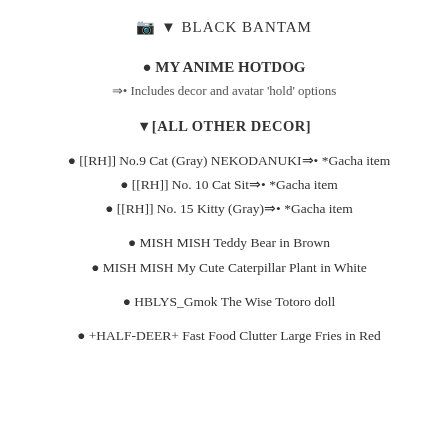📷 ▼ BLACK BANTAM
● MY ANIME HOTDOG
⇒• Includes decor and avatar 'hold' options
▼[ALL OTHER DECOR]
● [[RH]] No.9 Cat (Gray) NEKODANUKI⇒• *Gacha item
● [[RH]] No. 10 Cat Sit⇒• *Gacha item
● [[RH]] No. 15 Kitty (Gray)⇒• *Gacha item
● MISH MISH Teddy Bear in Brown
● MISH MISH My Cute Caterpillar Plant in White
● HBLYS_Gmok The Wise Totoro doll
● +HALF-DEER+ Fast Food Clutter Large Fries in Red